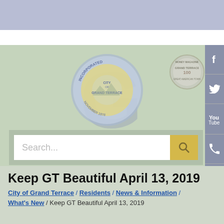[Figure (logo): City of Grand Terrace municipal seal - circular blue and yellow seal with 'INCORPORATED', 'CITY OF GRAND TERRACE', 'NOVEMBER 1978' text]
[Figure (logo): Money Magazine award badge - circular silver badge reading 'MONEY MAGAZINE', 'GRAND TERRACE', 'GREAT AMERICAN TOWN', '100']
[Figure (screenshot): Search bar with placeholder text 'Search...' and yellow search button with magnifying glass icon]
Keep GT Beautiful April 13, 2019
City of Grand Terrace / Residents / News & Information / What's New / Keep GT Beautiful April 13, 2019